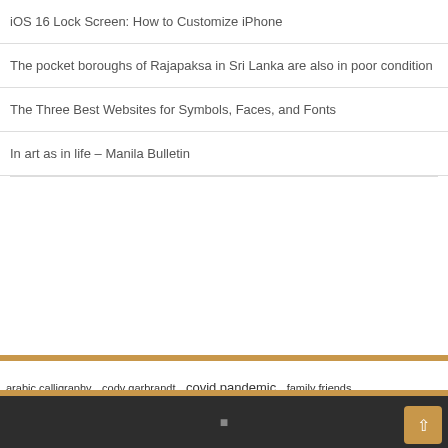iOS 16 Lock Screen: How to Customize iPhone
The pocket boroughs of Rajapaksa in Sri Lanka are also in poor condition
The Three Best Websites for Symbols, Faces, and Fonts
In art as in life – Manila Bulletin
[Figure (infographic): Tag cloud with terms of varying sizes: arabic calligraphy, cody garbrandt, covid pandemic, family friends (small); high school (large bold); latest news, long term, long time, middle east, press release (medium); rob font (small); united states (extra large bold); vice president, wide range (medium); young people (small)]